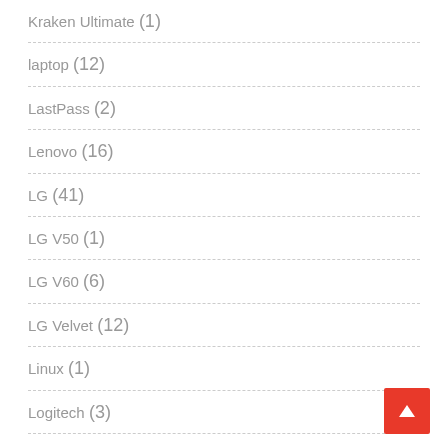Kraken Ultimate (1)
laptop (12)
LastPass (2)
Lenovo (16)
LG (41)
LG V50 (1)
LG V60 (6)
LG Velvet (12)
Linux (1)
Logitech (3)
Mediatek (16)
Messaging Apps (8)